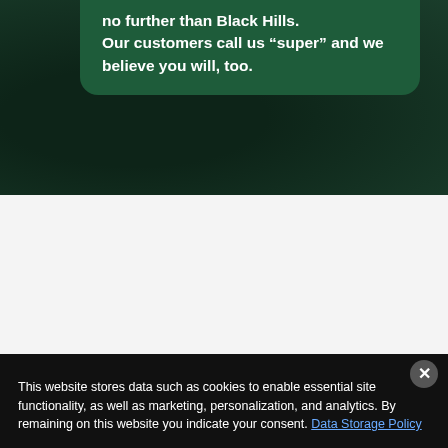no further than Black Hills. Our customers call us “super” and we believe you will, too.
[Figure (logo): HomeAdvisor Top Rated badge with orange diamond logo, bold orange TOP RATED text, and orange stars]
This website stores data such as cookies to enable essential site functionality, as well as marketing, personalization, and analytics. By remaining on this website you indicate your consent. Data Storage Policy